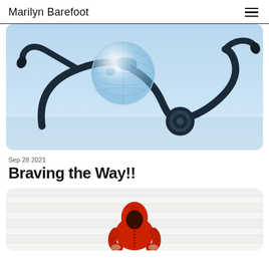Marilyn Barefoot
[Figure (photo): A stethoscope and a crystal globe ball resting on a blue surface, close-up medical/global health concept image]
Sep 28 2021
Braving the Way!!
[Figure (photo): A person in a red hooded jacket sitting on white wooden steps viewed from behind, concept of solitude or courage]